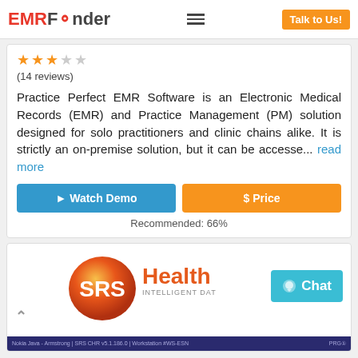EMRFinder | Talk to Us!
(14 reviews)
Practice Perfect EMR Software is an Electronic Medical Records (EMR) and Practice Management (PM) solution designed for solo practitioners and clinic chains alike. It is strictly an on-premise solution, but it can be accesse... read more
▶ Watch Demo
$ Price
Recommended: 66%
[Figure (logo): SRS Health - Intelligent Data Solutions logo with orange gradient circle and text]